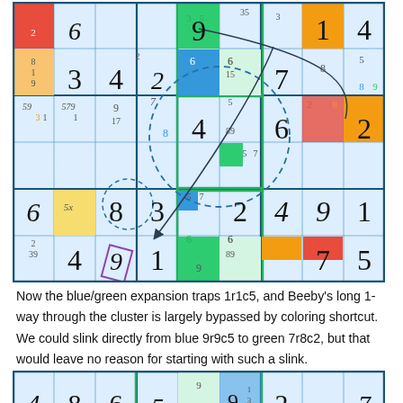[Figure (other): Sudoku puzzle grid (top) with colored cells, candidate numbers, arrows and dashed circles indicating solving logic. Contains digits 1-9 placed in cells with small candidate notations and colored highlights (blue, green, yellow, red, orange).]
Now the blue/green expansion traps 1r1c5, and Beeby's long 1-way through the cluster is largely bypassed by coloring shortcut. We could slink directly from blue 9r9c5 to green 7r8c2, but that would leave no reason for starting with such a slink.
[Figure (other): Sudoku puzzle grid (bottom partial) showing row with digits 4, 8, 6, 5 (with small 9 and subscripts), 9 with 1/3 annotations, 2, 7.]